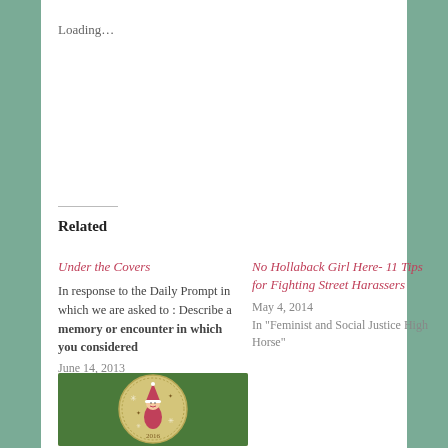Loading…
Related
Under the Covers
In response to the Daily Prompt in which we are asked to : Describe a memory or encounter in which you considered
June 14, 2013
In "Uncategorized (Yet Still In A Category)"
No Hollaback Girl Here- 11 Tips for Fighting Street Harassers
May 4, 2014
In "Feminist and Social Justice High Horse"
[Figure (illustration): Circular ornamental plate/cookie with a cartoon Santa Claus figure and '2016' text, on a green olive background]
Share Your World-Holiday